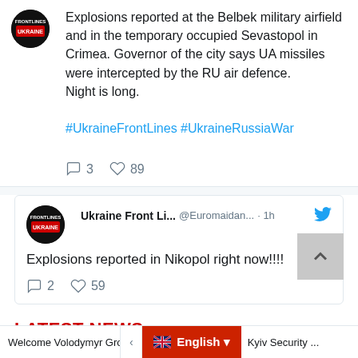Explosions reported at the Belbek military airfield and in the temporary occupied Sevastopol in Crimea. Governor of the city says UA missiles were intercepted by the RU air defence.
Night is long.
#UkraineFrontLines #UkraineRussiaWar
3 replies, 89 likes
Ukraine Front Li... @Euromaidan... · 1h — Explosions reported in Nikopol right now!!!!
2 replies, 59 likes
LATEST NEWS
STORIES
Welcome Volodymyr Groysman as ...
English
Kyiv Security ...